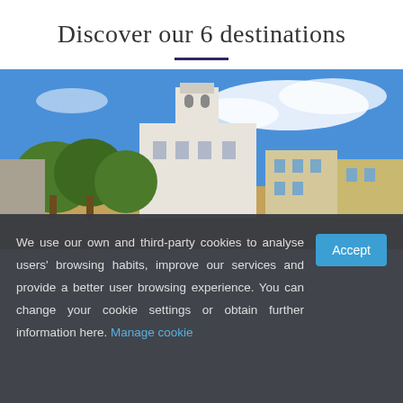Discover our 6 destinations
[Figure (photo): Outdoor photo of a white Mediterranean-style building with a bell tower, surrounded by green trees, against a blue sky with clouds. Additional buildings visible on the right side.]
We use our own and third-party cookies to analyse users' browsing habits, improve our services and provide a better user browsing experience. You can change your cookie settings or obtain further information here. Manage cookie